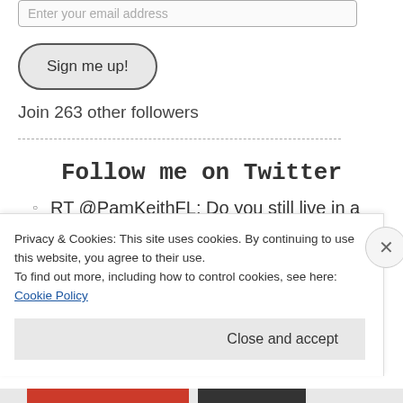Enter your email address
Sign me up!
Join 263 other followers
Follow me on Twitter
RT @PamKeithFL: Do you still live in a democracy if your governor can just remove all of the elected
Privacy & Cookies: This site uses cookies. By continuing to use this website, you agree to their use.
To find out more, including how to control cookies, see here: Cookie Policy
Close and accept